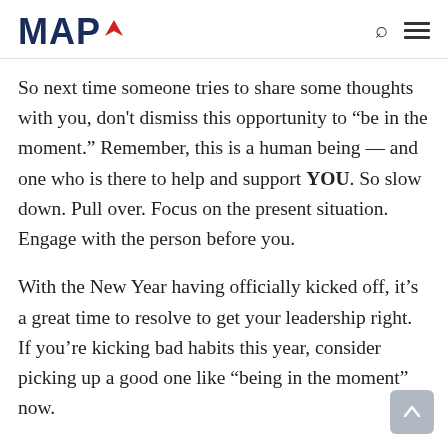MAP
So next time someone tries to share some thoughts with you, don't dismiss this opportunity to “be in the moment.” Remember, this is a human being — and one who is there to help and support YOU. So slow down. Pull over. Focus on the present situation. Engage with the person before you.
With the New Year having officially kicked off, it’s a great time to resolve to get your leadership right. If you’re kicking bad habits this year, consider picking up a good one like “being in the moment” now.